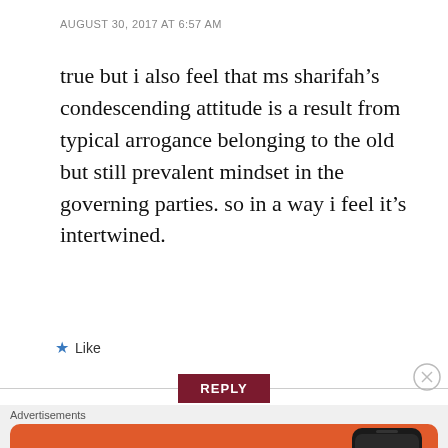AUGUST 30, 2017 AT 6:57 AM
true but i also feel that ms sharifah’s condescending attitude is a result from typical arrogance belonging to the old but still prevalent mindset in the governing parties. so in a way i feel it’s intertwined.
★ Like
REPLY
Advertisements
[Figure (screenshot): DuckDuckGo advertisement banner with orange background showing 'Search, browse, and email with more privacy. All in One Free App' with DuckDuckGo logo and phone image]